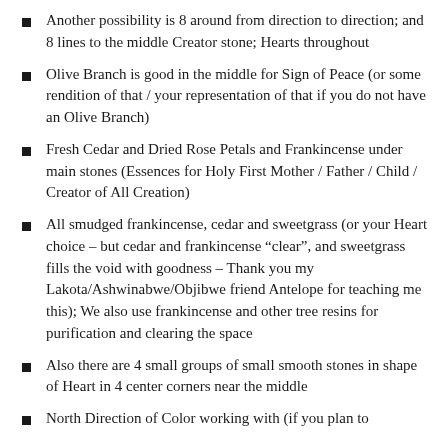Another possibility is 8 around from direction to direction; and 8 lines to the middle Creator stone; Hearts throughout
Olive Branch is good in the middle for Sign of Peace (or some rendition of that / your representation of that if you do not have an Olive Branch)
Fresh Cedar and Dried Rose Petals and Frankincense under main stones (Essences for Holy First Mother / Father / Child / Creator of All Creation)
All smudged frankincense, cedar and sweetgrass (or your Heart choice – but cedar and frankincense “clear”, and sweetgrass fills the void with goodness – Thank you my Lakota/Ashwinabwe/Objibwe friend Antelope for teaching me this); We also use frankincense and other tree resins for purification and clearing the space
Also there are 4 small groups of small smooth stones in shape of Heart in 4 center corners near the middle
North Direction of Color working with (if you plan to